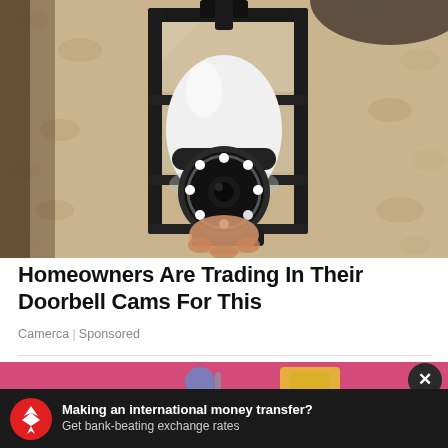[Figure (photo): A smart security camera bulb installed inside a black metal outdoor lantern fixture mounted on a textured stucco wall. A hand is holding the white camera bulb with a dark circular lens array at the bottom.]
Homeowners Are Trading In Their Doorbell Cams For This
Camerca | Sponsored
[Figure (photo): Partial view of a bottom content card showing pink/magenta background with what appears to be a person with cleaning tools or similar items.]
[Figure (screenshot): Advertisement banner with dark background showing a red circular logo with an eagle, and text: Making an international money transfer? Get bank-beating exchange rates]